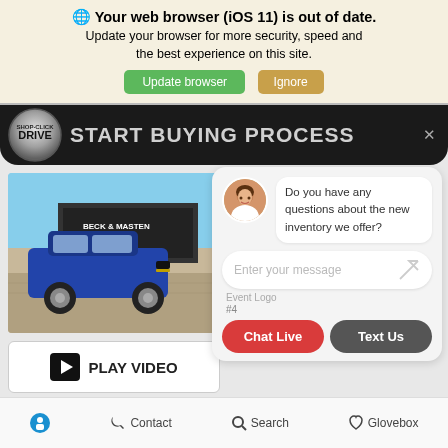🌐 Your web browser (iOS 11) is out of date. Update your browser for more security, speed and the best experience on this site.
Update browser | Ignore
[Figure (screenshot): Shop-Click-Drive 'START BUYING PROCESS' header bar with logo and close button]
[Figure (photo): Blue GMC SUV parked in front of Beck & Masten dealership]
[Figure (screenshot): Chat widget with female avatar, message bubble saying 'Do you have any questions about the new inventory we offer?', message input field, Chat Live and Text Us buttons]
PLAY VIDEO
Event Logo #4
Chat Live
Text Us
♿ Contact 🔍 Search ♡ Glovebox